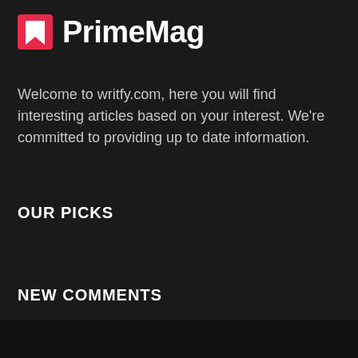[Figure (logo): PrimeMag logo with red bookmark icon and white bold text 'PrimeMag']
Welcome to writfy.com, here you will find interesting articles based on your interest. We're committed to providing up to date information.
OUR PICKS
NEW COMMENTS